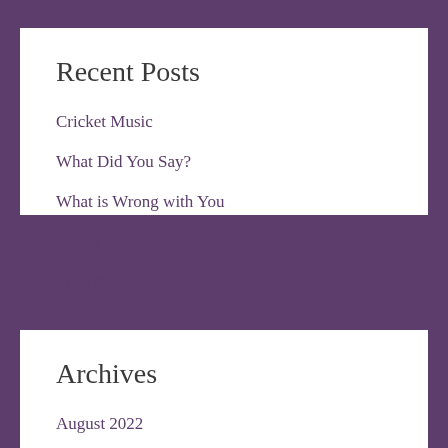Recent Posts
Cricket Music
What Did You Say?
What is Wrong with You
Hands
With Nana
Archives
August 2022